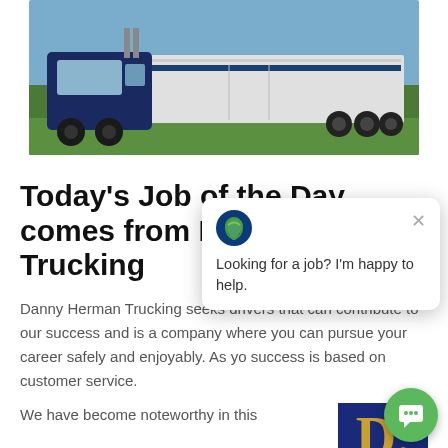[Figure (photo): A dark blue semi-truck with white trailer parked on green grass with blue sky background, Danny Herman Trucking vehicle]
Today's Job of the Day comes from Danny Herman Trucking
Danny Herman Trucking seeks drivers that can contribute to our success and is a company where you can pursue your career safely and enjoyably. As you can imagine, our success is based on outstanding customer service.
We have become noteworthy in this
[Figure (logo): Danny Herman Trucking logo - gold letter D on dark blue background]
Looking for a job? I'm happy to help.